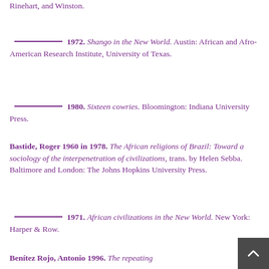——— 1972. Shango in the New World. Austin: African and Afro-American Research Institute, University of Texas.
——— 1980. Sixteen cowries. Bloomington: Indiana University Press.
Bastide, Roger 1960 in 1978. The African religions of Brazil: Toward a sociology of the interpenetration of civilizations, trans. by Helen Sebba. Baltimore and London: The Johns Hopkins University Press.
——— 1971. African civilizations in the New World. New York: Harper & Row.
Benítez Rojo, Antonio 1996. The repeating island...